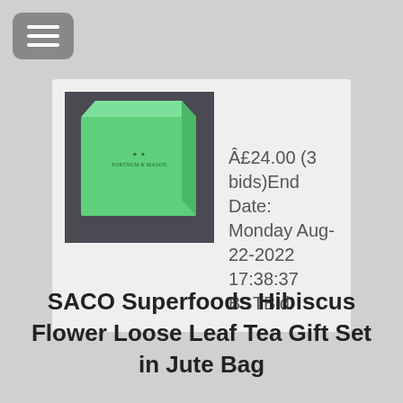[Figure (photo): Green Fortnum & Mason gift box on a dark fabric background]
Â£24.00 (3 bids)End Date: Monday Aug-22-2022 17:38:37 BSTBid
SACO Superfoods Hibiscus Flower Loose Leaf Tea Gift Set in Jute Bag